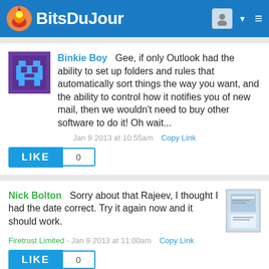Bits Du Jour
Binkie Boy  Gee, if only Outlook had the ability to set up folders and rules that automatically sort things the way you want, and the ability to control how it notifies you of new mail, then we wouldn't need to buy other software to do it! Oh wait...
Jan 9 2013 at 10:55am   Copy Link
LIKE  0
Nick Bolton  Sorry about that Rajeev, I thought I had the date correct. Try it again now and it should work.
Firetrust Limited - Jan 9 2013 at 11:00am   Copy Link
LIKE  0
Nick Bolton  @Binkie Boy - We've seen research which shows most people don't use folders, instead they let everything pile up in their inbox